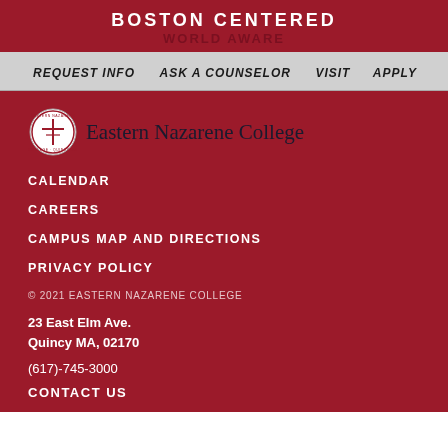BOSTON CENTERED
REQUEST INFO
ASK A COUNSELOR
VISIT
APPLY
[Figure (logo): Eastern Nazarene College shield logo with cross, circular seal with text, followed by wordmark 'Eastern Nazarene College' in serif font]
CALENDAR
CAREERS
CAMPUS MAP AND DIRECTIONS
PRIVACY POLICY
© 2021 EASTERN NAZARENE COLLEGE
23 East Elm Ave.
Quincy MA, 02170
(617)-745-3000
CONTACT US